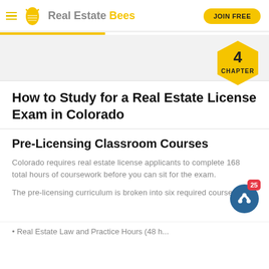Real Estate Bees | JOIN FREE
[Figure (logo): Real Estate Bees logo with bee icon, hamburger menu, and yellow JOIN FREE button]
How to Study for a Real Estate License Exam in Colorado
Pre-Licensing Classroom Courses
Colorado requires real estate license applicants to complete 168 total hours of coursework before you can sit for the exam.
The pre-licensing curriculum is broken into six required courses: